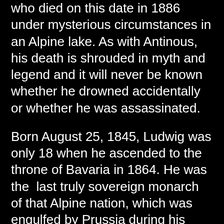who died on this date in 1886 under mysterious circumstances in an Alpine lake. As with Antinous, his death is shrouded in myth and legend and it will never be known whether he drowned accidentally or whether he was assassinated.
Born August 25, 1845, Ludwig was only 18 when he ascended to the throne of Bavaria in 1864. He was the last truly sovereign monarch of that Alpine nation, which was engulfed by Prussia during his reign and very much against his wishes.
While the king of Prussia was planning a war against France, and various other crowned heads of Europe were scheming and conniving to commit war and bloodshed, "Mad" King Ludwig (as he was called) devoted the entire resources of his land to the performing and visual arts, commissioning operas by Richard Wagner and building the most astounding fairy-tale castles and palaces.